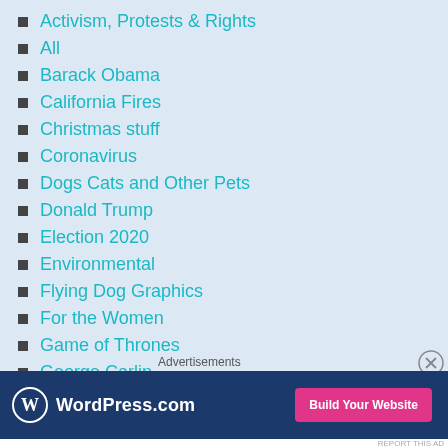Activism, Protests & Rights
All
Barack Obama
California Fires
Christmas stuff
Coronavirus
Dogs Cats and Other Pets
Donald Trump
Election 2020
Environmental
Flying Dog Graphics
For the Women
Game of Thrones
George Carlin
[Figure (other): WordPress.com advertisement banner with logo and 'Build Your Website' button]